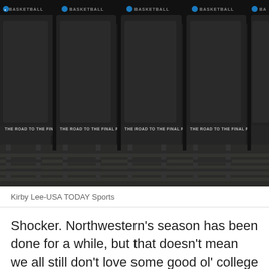[Figure (photo): A row of black folding chairs in an arena setting. Each chair back has text reading 'THE ROAD TO THE FINAL FOUR' and a logo reading 'BASKETBALL' at the top. Multiple chairs are visible side by side.]
Kirby Lee-USA TODAY Sports
Shocker. Northwestern's season has been done for a while, but that doesn't mean we all still don't love some good ol' college hoops. Four games are featured today,